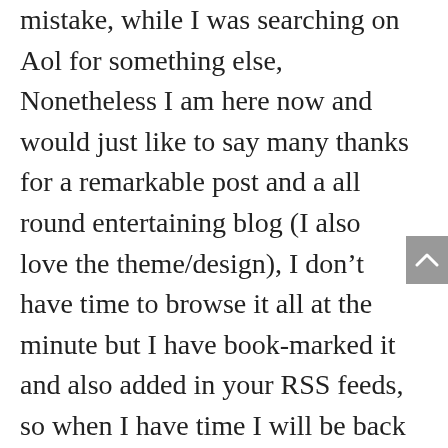mistake, while I was searching on Aol for something else, Nonetheless I am here now and would just like to say many thanks for a remarkable post and a all round entertaining blog (I also love the theme/design), I don't have time to browse it all at the minute but I have book-marked it and also added in your RSS feeds, so when I have time I will be back to read more